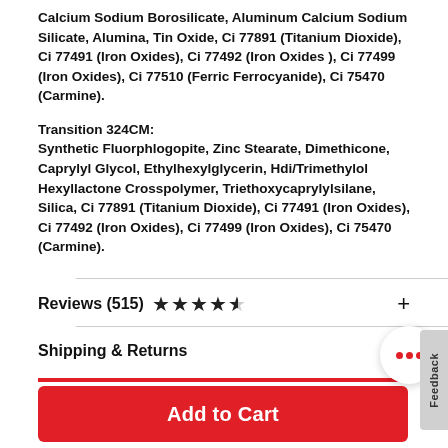Calcium Sodium Borosilicate, Aluminum Calcium Sodium Silicate, Alumina, Tin Oxide, Ci 77891 (Titanium Dioxide), Ci 77491 (Iron Oxides), Ci 77492 (Iron Oxides ), Ci 77499 (Iron Oxides), Ci 77510 (Ferric Ferrocyanide), Ci 75470 (Carmine).
Transition 324CM: Synthetic Fluorphlogopite, Zinc Stearate, Dimethicone, Caprylyl Glycol, Ethylhexylglycerin, Hdi/Trimethylol Hexyllactone Crosspolymer, Triethoxycaprylylsilane, Silica, Ci 77891 (Titanium Dioxide), Ci 77491 (Iron Oxides), Ci 77492 (Iron Oxides), Ci 77499 (Iron Oxides), Ci 75470 (Carmine).
Reviews  (515) ★★★★½
Shipping & Returns